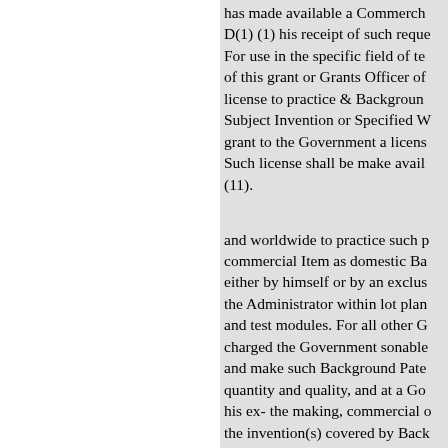has made available a Commerch... D(1) (1) his receipt of such reque... For use in the specific field of te... of this grant or Grants Officer of... license to practice & Background... Subject Invention or Specified W... grant to the Government a licens... Such license shall be make avail... (11). and worldwide to practice such p... commercial Item as domestic Ba... either by himself or by an exclus... the Administrator within lot plan... and test modules. For all other G... charged the Government sonable... and make such Background Pate... quantity and quality, and at a Go... his ex- the making, commercial o... the invention(s) covered by Back... available within the time designa... Background Pat- Background Pa... Work Object shall be additionall... Background Patent under sonabl...